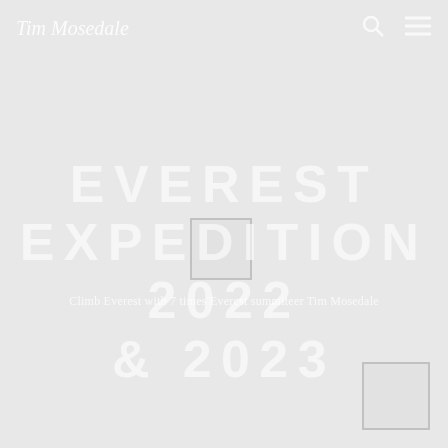Tim Mosedale
EVEREST EXPEDITION 2022 & 2023
Climb Everest with 7 times Everest summiteer Tim Mosedale